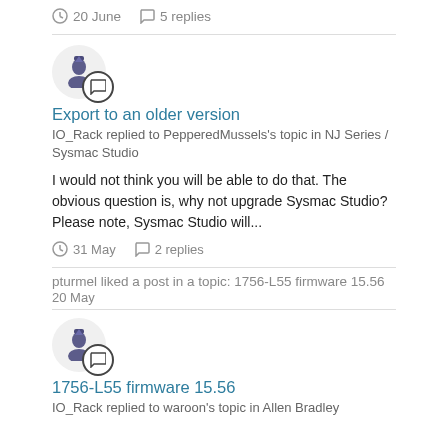20 June  5 replies
[Figure (illustration): User avatar circle with trophy icon and speech bubble badge]
Export to an older version
IO_Rack replied to PepperedMussels's topic in NJ Series / Sysmac Studio
I would not think you will be able to do that. The obvious question is, why not upgrade Sysmac Studio? Please note, Sysmac Studio will...
31 May  2 replies
pturmel liked a post in a topic: 1756-L55 firmware 15.56
20 May
[Figure (illustration): User avatar circle with trophy icon and speech bubble badge]
1756-L55 firmware 15.56
IO_Rack replied to waroon's topic in Allen Bradley